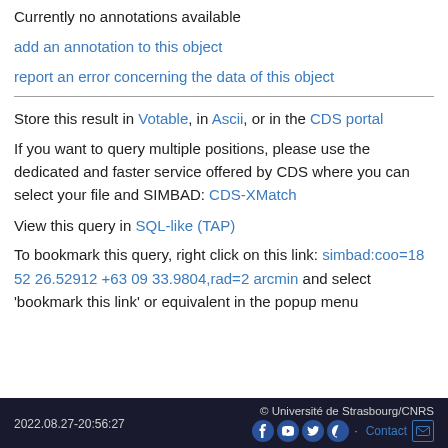Currently no annotations available
add an annotation to this object
report an error concerning the data of this object
Store this result in Votable, in Ascii, or in the CDS portal
If you want to query multiple positions, please use the dedicated and faster service offered by CDS where you can select your file and SIMBAD: CDS-XMatch
View this query in SQL-like (TAP)
To bookmark this query, right click on this link: simbad:coo=18 52 26.52912 +63 09 33.9804,rad=2 arcmin and select 'bookmark this link' or equivalent in the popup menu
2022.08.27-20:56:27   © Université de Strasbourg/CNRS   Contact